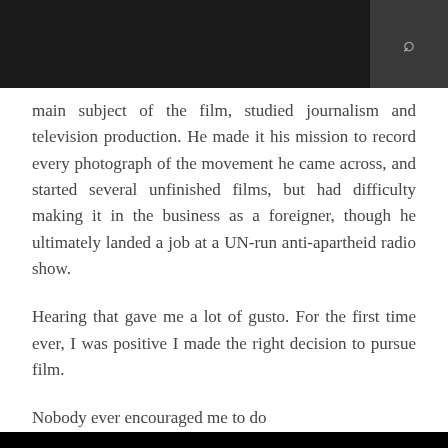main subject of the film, studied journalism and television production. He made it his mission to record every photograph of the movement he came across, and started several unfinished films, but had difficulty making it in the business as a foreigner, though he ultimately landed a job at a UN-run anti-apartheid radio show.
Hearing that gave me a lot of gusto. For the first time ever, I was positive I made the right decision to pursue film.
Nobody ever encouraged me to do